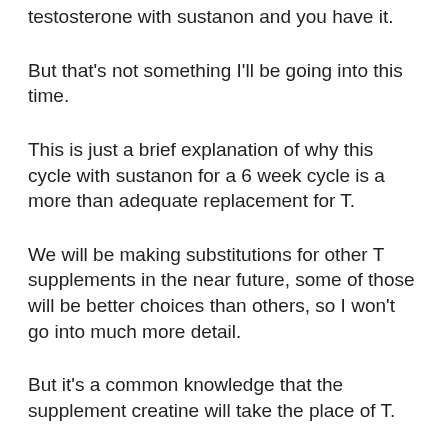testosterone with sustanon and you have it.
But that's not something I'll be going into this time.
This is just a brief explanation of why this cycle with sustanon for a 6 week cycle is a more than adequate replacement for T.
We will be making substitutions for other T supplements in the near future, some of those will be better choices than others, so I won't go into much more detail.
But it's a common knowledge that the supplement creatine will take the place of T.
There is also a natural hormone known as Testosterone which can also be substituted for Testosterone.